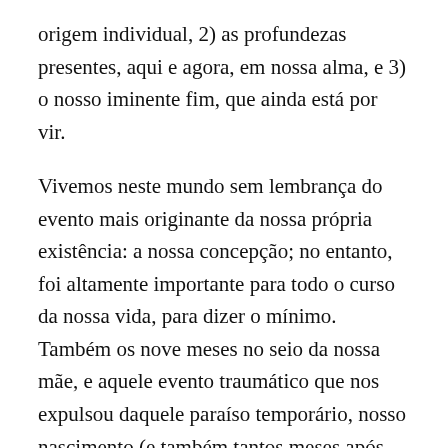origem individual, 2) as profundezas presentes, aqui e agora, em nossa alma, e 3) o nosso iminente fim, que ainda está por vir.
Vivemos neste mundo sem lembrança do evento mais originante da nossa própria existência: a nossa concepção; no entanto, foi altamente importante para todo o curso da nossa vida, para dizer o mínimo. Também os nove meses no seio da nossa mãe, e aquele evento traumático que nos expulsou daquele paraíso temporário, nosso nascimento (e também tantos meses após nossa entrada no mundo)–de tudo isso, nossa memória carrega, na melhor hipótese, apenas alguns ecos no inconsciente.